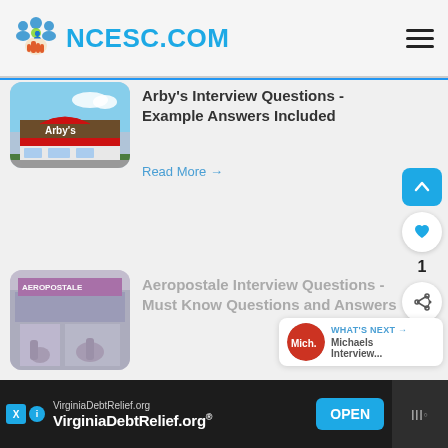NCESC.COM
Arby's Interview Questions - Example Answers Included
Read More →
[Figure (photo): Arby's restaurant exterior building photo]
Aeropostale Interview Questions - Must Know Questions and Answers
Read More →
[Figure (photo): Aeropostale store front photo]
WHAT'S NEXT → Michaels Interview...
VirginiaDebtRelief.org VirginiaDebtRelief.org® OPEN